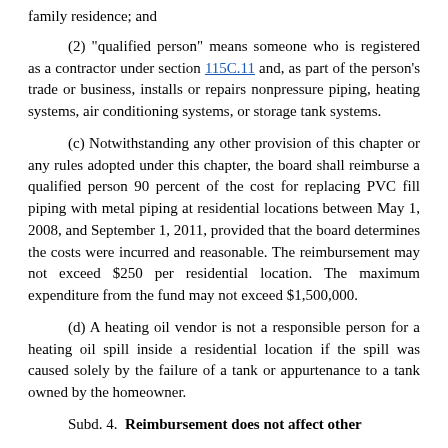family residence; and
(2) "qualified person" means someone who is registered as a contractor under section 115C.11 and, as part of the person's trade or business, installs or repairs nonpressure piping, heating systems, air conditioning systems, or storage tank systems.
(c) Notwithstanding any other provision of this chapter or any rules adopted under this chapter, the board shall reimburse a qualified person 90 percent of the cost for replacing PVC fill piping with metal piping at residential locations between May 1, 2008, and September 1, 2011, provided that the board determines the costs were incurred and reasonable. The reimbursement may not exceed $250 per residential location. The maximum expenditure from the fund may not exceed $1,500,000.
(d) A heating oil vendor is not a responsible person for a heating oil spill inside a residential location if the spill was caused solely by the failure of a tank or appurtenance to a tank owned by the homeowner.
Subd. 4. Reimbursement does not affect other